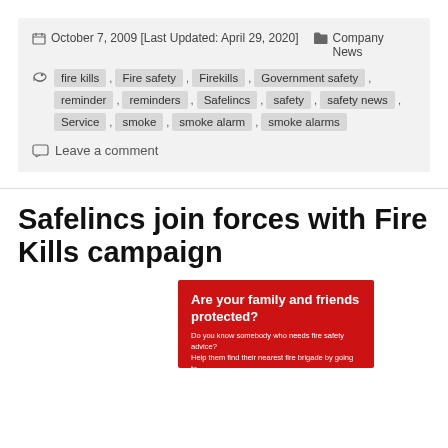October 7, 2009 [Last Updated: April 29, 2020]   Company News
fire kills , Fire safety , Firekills , Government safety , reminder , reminders , Safelincs , safety , safety news , Service , smoke , smoke alarm , smoke alarms
Leave a comment
Safelincs join forces with Fire Kills campaign
[Figure (photo): Red banner with white text: 'Are your family and friends protected? Do you know somebody who needs fire safety advice? Help them find their nearest fire brigade by going to www.fireservices4u.co.uk']